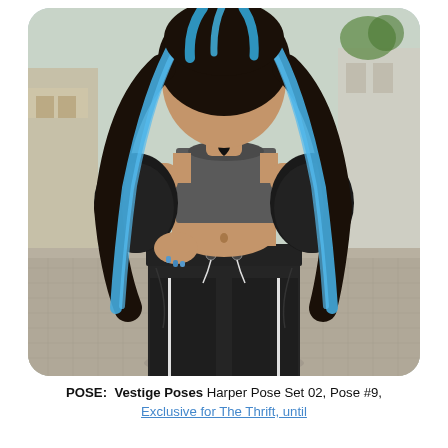[Figure (illustration): A 3D rendered virtual avatar (Second Life style) of a young woman with long dark hair with cyan/blue highlights, wearing a grey crop top, black off-shoulder jacket, and black drawstring sweatpants with white stripe accents. She wears a heart-shaped necklace and has blue nails. The background shows a cobblestone street scene with buildings.]
POSE:  Vestige Poses Harper Pose Set 02, Pose #9, Exclusive for The Thrift, until